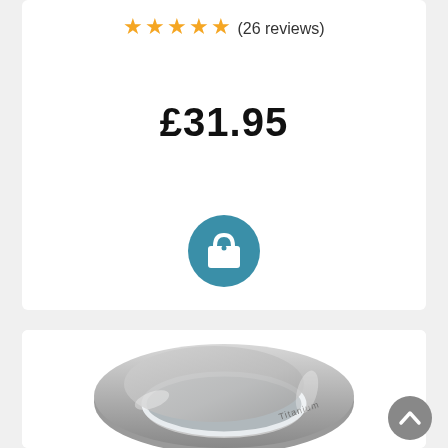★★★★★ (26 reviews)
£31.95
[Figure (other): Teal shopping bag / cart icon button]
[Figure (photo): A silver titanium ring with matte top surface and polished inner edge, engraved with 'Titanium']
[Figure (other): Grey back-to-top chevron/arrow button]